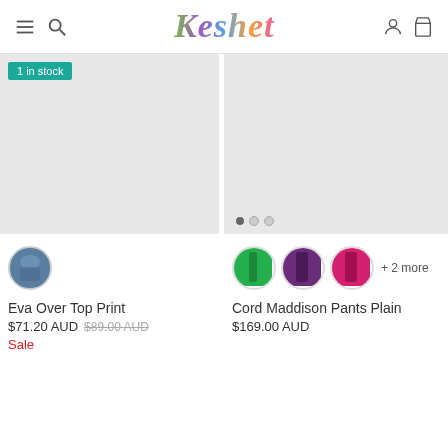Keshet
[Figure (photo): Product image placeholder for Eva Over Top Print, light gray background, with teal '1 in stock' badge]
[Figure (photo): Product image placeholder for Cord Maddison Pants Plain, light gray background, with carousel dots (3 dots)]
Eva Over Top Print
$71.20 AUD  $89.00 AUD  Sale
Cord Maddison Pants Plain
$169.00 AUD